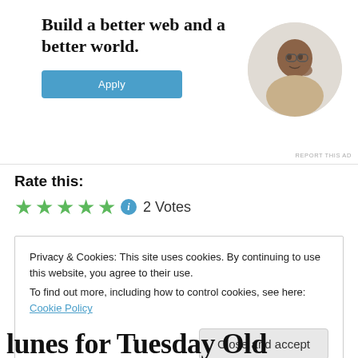[Figure (infographic): Advertisement banner with bold headline 'Build a better web and a better world.' with a blue Apply button and a circular photo of a man thinking/working, labeled REPORT THIS AD]
Rate this:
[Figure (infographic): Five green stars rating widget with blue info icon and '2 Votes' text]
Privacy & Cookies: This site uses cookies. By continuing to use this website, you agree to their use.
To find out more, including how to control cookies, see here: Cookie Policy
Close and accept
lunes for Tuesday Old